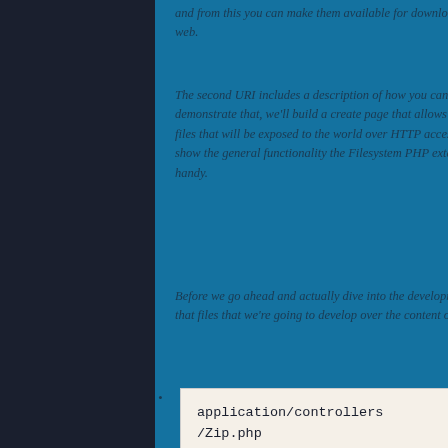and from this you can make them available for download to end users via web.
The second URI includes a description of how you can structure the To demonstrate that, we'll build a create page that allows users to upload zip files that will be exposed to the world over HTTP accessible for guests. To show the general functionality the Filesystem PHP extension comes in very handy.
Before we go ahead and actually dive into the development work, I'd say that files that we're going to develop over the content of this tutorial.
[Figure (screenshot): Code block showing: application/controllers/Zip.php]
# is a controller file that application/models/Zip.php